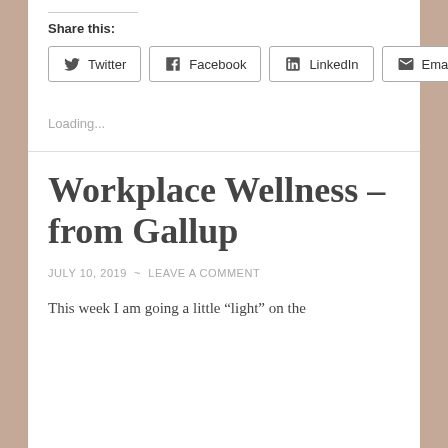Share this:
[Figure (other): Social share buttons: Twitter, Facebook, LinkedIn, Email]
Loading...
Workplace Wellness – from Gallup
JULY 10, 2019 ~ LEAVE A COMMENT
This week I am going a little “light” on the